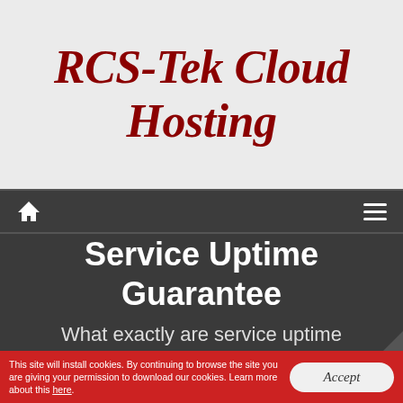RCS-Tek Cloud Hosting
Navigation bar with home icon and menu icon
Service Uptime Guarantee
What exactly are service uptime guarantees? How do you take advantage of them?
This site will install cookies. By continuing to browse the site you are giving your permission to download our cookies. Learn more about this here.